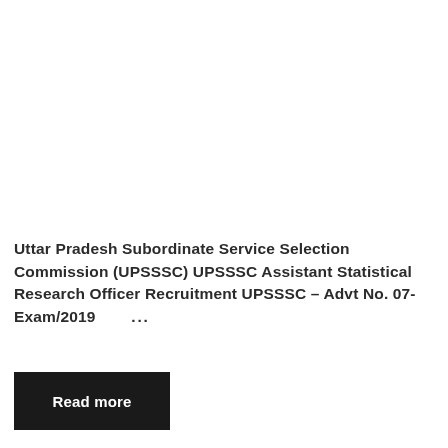Uttar Pradesh Subordinate Service Selection Commission (UPSSSC) UPSSSC Assistant Statistical Research Officer Recruitment UPSSSC – Advt No. 07-Exam/2019 …
Read more